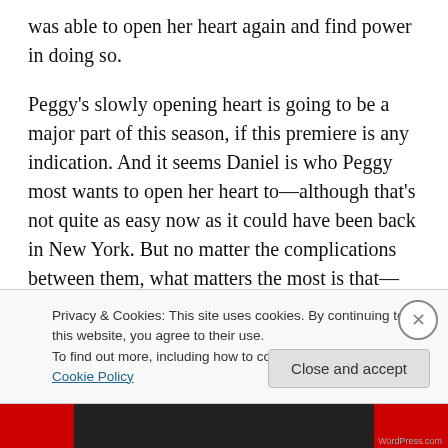was able to open her heart again and find power in doing so.
Peggy's slowly opening heart is going to be a major part of this season, if this premiere is any indication. And it seems Daniel is who Peggy most wants to open her heart to—although that's not quite as easy now as it could have been back in New York. But no matter the complications between them, what matters the most is that—when Peggy needs him—Daniel is going to be there for her. This episode proved that. He worries about her in a special
Privacy & Cookies: This site uses cookies. By continuing to use this website, you agree to their use.
To find out more, including how to control cookies, see here: Cookie Policy